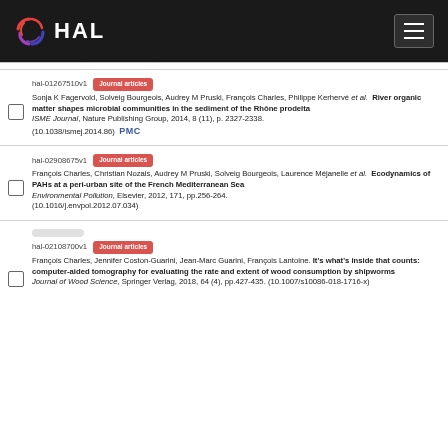HAL
hal-01267510v1 Journal articles
Sonja K Fagervold, Solveig Bourgeois, Audrey M Pruski, François Charles, Philippe Kerhervé et al. River organic matter shapes microbial communities in the sediment of the Rhône prodelta
ISME Journal, Nature Publishing Group, 2014, 8 (11), p. 2327-2338. (10.1038/ismej.2014.86) PMC
hal-02908675v1 Journal articles
François Charles, Christian Nozais, Audrey M Pruski, Solveig Bourgeois, Laurence Méjanelle et al. Ecodynamics of PAHs at a peri-urban site of the French Mediterranean Sea
Environmental Pollution, Elsevier, 2012, 171, pp.256-264. (10.1016/j.envpol.2012.07.034)
hal-02108700v1 Journal articles
François Charles, Jennifer Coston-Guarini, Jean-Marc Guarini, François Lantoine. It's what's inside that counts: computer-aided tomography for evaluating the rate and extent of wood consumption by shipworms
Journal of Wood Science, Springer Verlag, 2018, 64 (4), pp.427-435. (10.1007/s10086-018-1716-x)